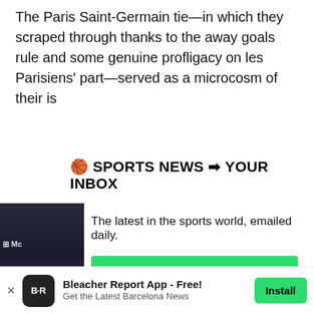The Paris Saint-Germain tie—in which they scraped through thanks to the away goals rule and some genuine profligacy on les Parisiens' part—served as a microcosm of their is
🏀 SPORTS NEWS ➡ YOUR INBOX
[Figure (photo): Dark photo strip on the left side showing an indoor sports scene, partially cropped, with a Watch label at the bottom and Microsoft logo visible]
The latest in the sports world, emailed daily.
Join Newsletter
Maybe Later
Bleacher Report App - Free!
Get the Latest Barcelona News